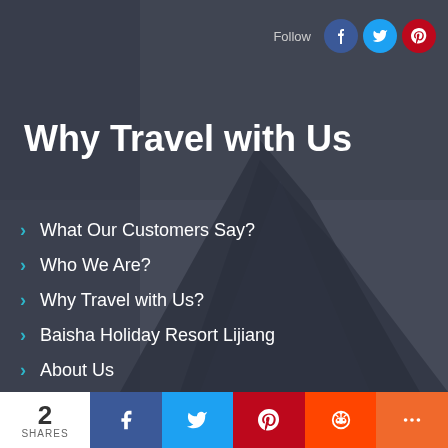亚美国际旅业 Follow
Why Travel with Us
What Our Customers Say?
Who We Are?
Why Travel with Us?
Baisha Holiday Resort Lijiang
About Us
Links
Travel News
Themes Travel Guide
2 SHARES